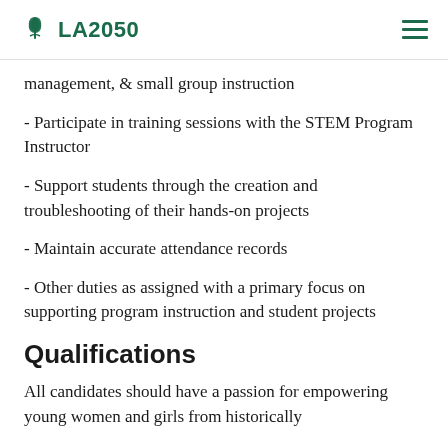LA2050
management, & small group instruction
- Participate in training sessions with the STEM Program Instructor
- Support students through the creation and troubleshooting of their hands-on projects
- Maintain accurate attendance records
- Other duties as assigned with a primary focus on supporting program instruction and student projects
Qualifications
All candidates should have a passion for empowering young women and girls from historically